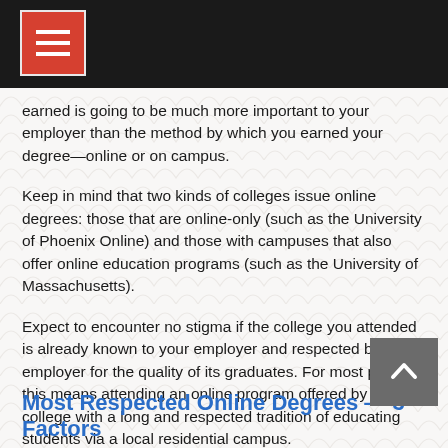earned is going to be much more important to your employer than the method by which you earned your degree—online or on campus.
Keep in mind that two kinds of colleges issue online degrees: those that are online-only (such as the University of Phoenix Online) and those with campuses that also offer online education programs (such as the University of Massachusetts).
Expect to encounter no stigma if the college you attended is already known to your employer and respected by your employer for the quality of its graduates. For most people, this means attending an online program offered by a college with a long and respected tradition of educating students via a local residential campus.
Check out the Get Educated video Can I Get a Job with an Online Degree? for more tips about presenting your online degree to your potential employer.
Most Respected Online Degrees — 3 Factors